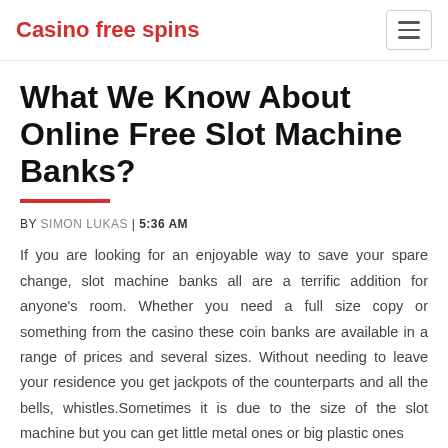Casino free spins
What We Know About Online Free Slot Machine Banks?
BY SIMON LUKAS | 5:36 AM
If you are looking for an enjoyable way to save your spare change, slot machine banks all are a terrific addition for anyone's room. Whether you need a full size copy or something from the casino these coin banks are available in a range of prices and several sizes. Without needing to leave your residence you get jackpots of the counterparts and all the bells, whistles.Sometimes it is due to the size of the slot machine but you can get little metal ones or big plastic ones...